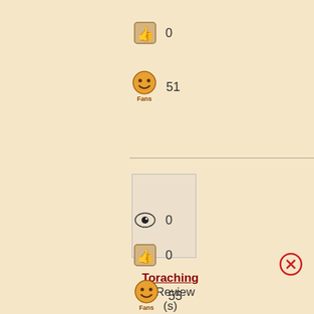[Figure (other): Thumbs up icon with count 0]
0
[Figure (other): Fans smiley icon with count 51]
51
[Figure (other): Placeholder profile image box]
Toraching
0 Review(s)
Level 1
[Figure (other): Eye/view icon with count 0]
0
[Figure (other): Thumbs up icon with count 0]
0
[Figure (other): Fans smiley icon with count 55]
55
[Figure (other): Close/X button circle]